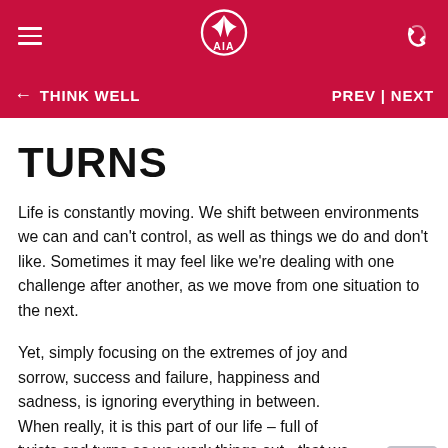AIA — Think Well
← THINK WELL    PREV | NEXT
TURNS
Life is constantly moving. We shift between environments we can and can't control, as well as things we do and don't like. Sometimes it may feel like we're dealing with one challenge after another, as we move from one situation to the next.
Yet, simply focusing on the extremes of joy and sorrow, success and failure, happiness and sadness, is ignoring everything in between. When really, it is this part of our life – full of twists and turns as we work things out - that we should notice and appreciate.